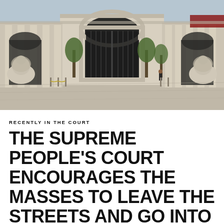[Figure (photo): Exterior view of the Supreme People's Court of China building, showing a grand classical-style gate with arches, iron gates, stone lion statues on either side, columns, and palm trees in the courtyard]
RECENTLY IN THE COURT
THE SUPREME PEOPLE'S COURT ENCOURAGES THE MASSES TO LEAVE THE STREETS AND GO INTO THE COURTROOM: WEEK ENDING 27 DECEMBER